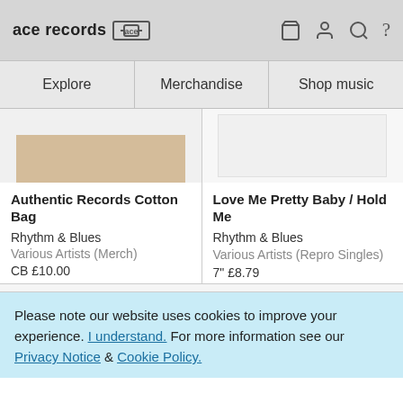ace records [ace logo] | cart | account | search | help
Explore | Merchandise | Shop music
[Figure (photo): Partial product image - Authentic Records Cotton Bag showing tan/beige cotton bag]
Authentic Records Cotton Bag
Rhythm & Blues
Various Artists (Merch)
CB £10.00
[Figure (photo): Partial product image - Love Me Pretty Baby / Hold Me record, white background]
Love Me Pretty Baby / Hold Me
Rhythm & Blues
Various Artists (Repro Singles)
7" £8.79
Please note our website uses cookies to improve your experience. I understand. For more information see our Privacy Notice & Cookie Policy.